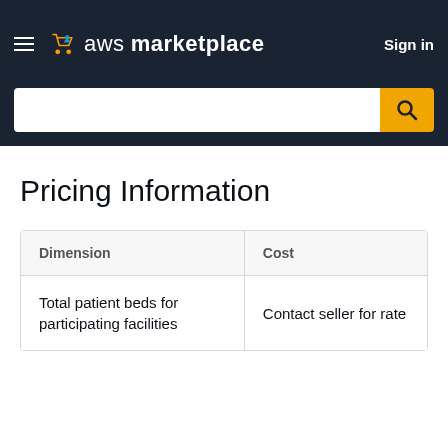aws marketplace  Sign in
Pricing Information
| Dimension | Cost |
| --- | --- |
| Total patient beds for participating facilities | Contact seller for rate |